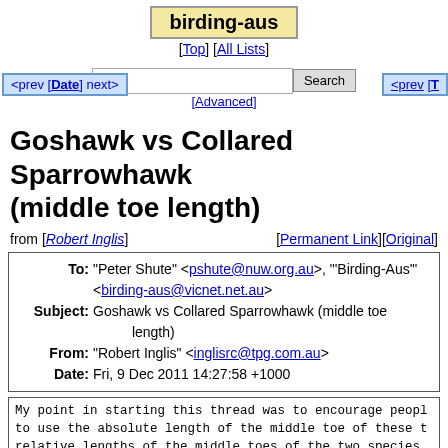birding-aus
[Top] [All Lists]
[Advanced]
Goshawk vs Collared Sparrowhawk (middle toe length)
from [Robert Inglis]  [Permanent Link][Original]
| To: | "Peter Shute" <pshute@nuw.org.au>, "'Birding-Aus'" <birding-aus@vicnet.net.au> |
| Subject: | Goshawk vs Collared Sparrowhawk (middle toe length) |
| From: | "Robert Inglis" <inglisrc@tpg.com.au> |
| Date: | Fri, 9 Dec 2011 14:27:58 +1000 |
My point in starting this thread was to encourage people to use the absolute length of the middle toe of these t relative lengths of the middle toes of the two species identification point to determine which species is bein absolute lengths and the relative lengths are irrelevan whether the same method or not was used to obtain the m to compile the tables in HANZAB.